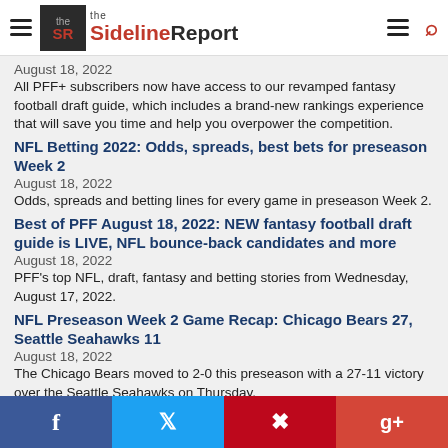the SidelineReport
August 18, 2022
All PFF+ subscribers now have access to our revamped fantasy football draft guide, which includes a brand-new rankings experience that will save you time and help you overpower the competition.
NFL Betting 2022: Odds, spreads, best bets for preseason Week 2
August 18, 2022
Odds, spreads and betting lines for every game in preseason Week 2.
Best of PFF August 18, 2022: NEW fantasy football draft guide is LIVE, NFL bounce-back candidates and more
August 18, 2022
PFF's top NFL, draft, fantasy and betting stories from Wednesday, August 17, 2022.
NFL Preseason Week 2 Game Recap: Chicago Bears 27, Seattle Seahawks 11
August 18, 2022
The Chicago Bears moved to 2-0 this preseason with a 27-11 victory over the Seattle Seahawks on Thursday.
One bet we like on every NFC East team: Saquon's
f  t  p  g+